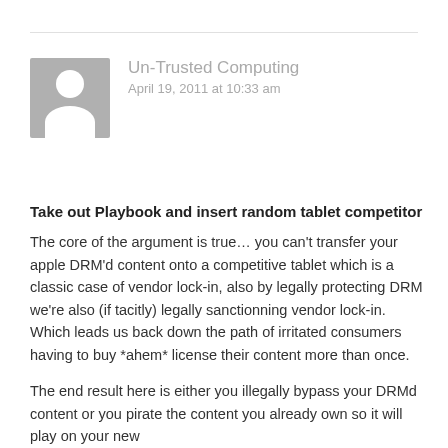Un-Trusted Computing
April 19, 2011 at 10:33 am
Take out Playbook and insert random tablet competitor
The core of the argument is true… you can't transfer your apple DRM'd content onto a competitive tablet which is a classic case of vendor lock-in, also by legally protecting DRM we're also (if tacitly) legally sanctionning vendor lock-in. Which leads us back down the path of irritated consumers having to buy *ahem* license their content more than once.
The end result here is either you illegally bypass your DRMd content or you pirate the content you already own so it will play on your new device.